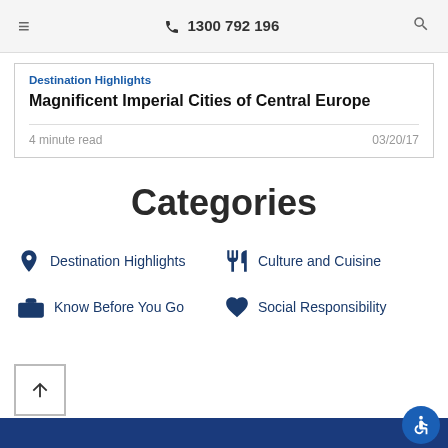≡  📞 1300 792 196  🔍
Destination Highlights
Magnificent Imperial Cities of Central Europe
4 minute read   03/20/17
Categories
Destination Highlights
Culture and Cuisine
Know Before You Go
Social Responsibility